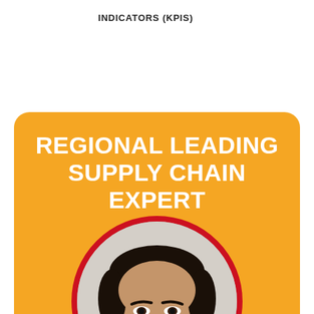INDICATORS (KPIS)
REGIONAL LEADING SUPPLY CHAIN EXPERT
[Figure (photo): Circular portrait photograph of a man with dark hair and beard, set on an orange background card with a red circular border frame. The card has rounded top corners.]